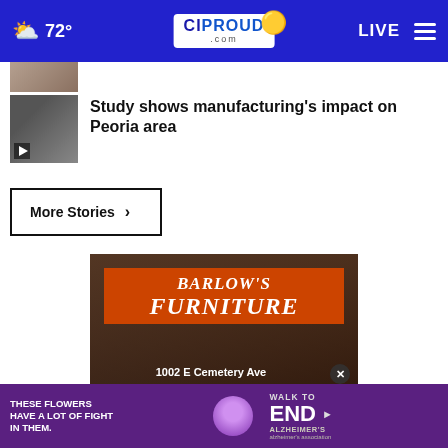72° CIProud.com LIVE
[Figure (photo): Partial thumbnail of a news story image]
Study shows manufacturing's impact on Peoria area
More Stories ›
[Figure (advertisement): Barlow's Furniture advertisement - 1002 E Cemetery Ave, with a close button X]
[Figure (advertisement): Alzheimer's Association walk to end Alzheimer's ad - These flowers have a lot of fight in them. Walk to End Alzheimer's.]